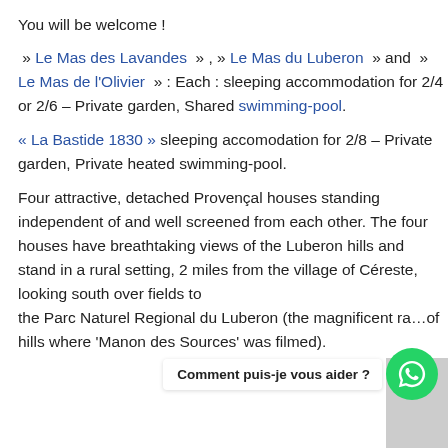You will be welcome !
» Le Mas des Lavandes », » Le Mas du Luberon » and » Le Mas de l'Olivier » : Each : sleeping accommodation for 2/4 or 2/6 – Private garden, Shared swimming-pool.
« La Bastide 1830 » sleeping accomodation for 2/8 – Private garden, Private heated swimming-pool.
Four attractive, detached Provençal houses standing independent of and well screened from each other. The four houses have breathtaking views of the Luberon hills and stand in a rural setting, 2 miles from the village of Céreste, looking south over fields to the Parc Naturel Regional du Luberon (the magnificent range of hills where 'Manon des Sources' was filmed).
[Figure (other): WhatsApp chat button with label 'Comment puis-je vous aider ?' and green WhatsApp icon circle]